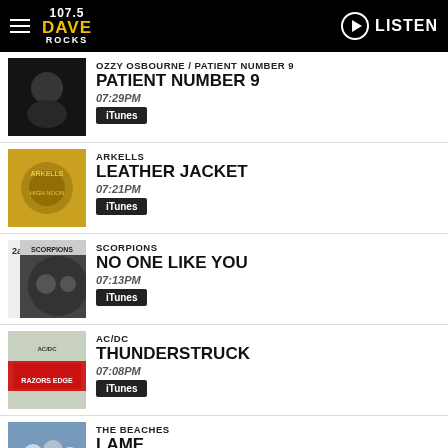107.5 DAVE ROCKS — LISTEN
PATIENT NUMBER 9 — 07:29PM — iTunes
ARKELLS — LEATHER JACKET — 07:21PM — iTunes
SCORPIONS — NO ONE LIKE YOU — 07:13PM — iTunes
AC/DC — THUNDERSTRUCK — 07:08PM — iTunes
THE BEACHES — LAME — 07:05PM
Ad Choices